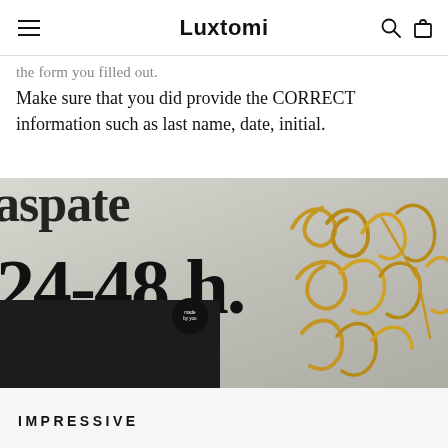Luxtomi
the form you filled out. Make sure that you did provide the CORRECT information such as last name, date, initial.
[Figure (photo): Product photo showing text '24-48 h.' in large bold serif font, with '100% Satisfaction • 3-6 days Delivery' below, a dark card envelope, a round black sticker, and gold script wooden letters on the right side. Partial word 'aspate' visible at top.]
IMPRESSIVE